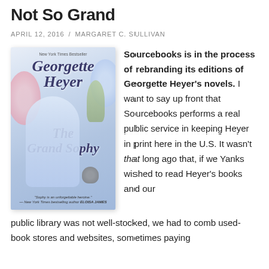Not So Grand
APRIL 12, 2016 / MARGARET C. SULLIVAN
[Figure (photo): Book cover of 'The Grand Sophy' by Georgette Heyer (New York Times Bestseller). Shows a Regency-era woman in a lavender dress with a small dog. Quote: 'Sophy is an unforgettable heroine.' — New York Times bestselling author Eloisa James.]
Sourcebooks is in the process of rebranding its editions of Georgette Heyer's novels. I want to say up front that Sourcebooks performs a real public service in keeping Heyer in print here in the U.S. It wasn't that long ago that, if we Yanks wished to read Heyer's books and our public library was not well-stocked, we had to comb used-book stores and websites, sometimes paying